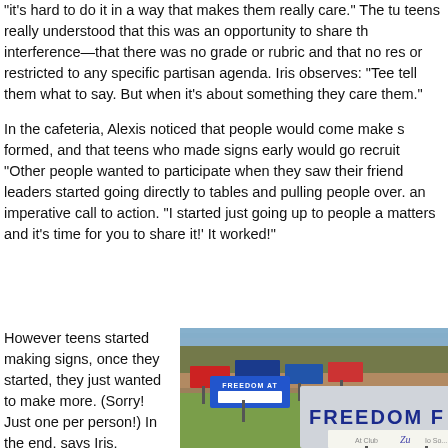“it’s hard to do it in a way that makes them really care.” The tu teens really understood that this was an opportunity to share th interference—that there was no grade or rubric and that no res or restricted to any specific partisan agenda. Iris observes: “Tee tell them what to say. But when it’s about something they care them.”
In the cafeteria, Alexis noticed that people would come make s formed, and that teens who made signs early would go recruit “Other people wanted to participate when they saw their friend leaders started going directly to tables and pulling people over. an imperative call to action. “I started just going up to people a matters and it’s time for you to share it!’ It worked!”
However teens started making signs, once they started, they just wanted to make more. (Sorry! Just one per person!) In the end, says Iris,
[Figure (photo): Photo of a lawn with multiple political yard signs, including large signs reading FREEDOM F... in blue and white letters, and other campaign signs in the background. A brick building is visible in the background.]